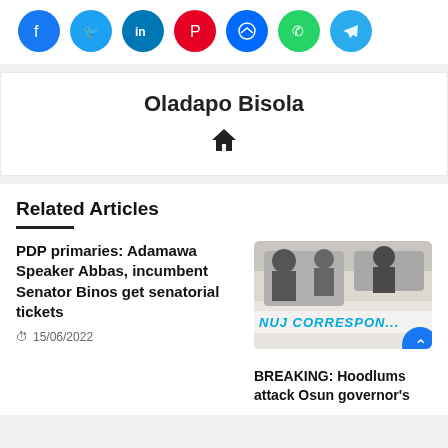[Figure (other): Row of social media share buttons: Facebook, Twitter, LinkedIn, Pinterest, Messenger, WhatsApp, Telegram]
Oladapo Bisola
[Figure (other): Home icon]
Related Articles
PDP primaries: Adamawa Speaker Abbas, incumbent Senator Binos get senatorial tickets
15/06/2022
[Figure (photo): Photo of a vehicle with text NUJ CORRESPONDENT on the side]
BREAKING: Hoodlums attack Osun governor's